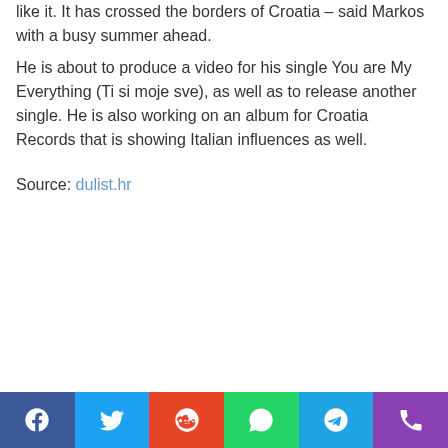like it. It has crossed the borders of Croatia – said Markos with a busy summer ahead. He is about to produce a video for his single You are My Everything (Ti si moje sve), as well as to release another single. He is also working on an album for Croatia Records that is showing Italian influences as well.
Source: dulist.hr